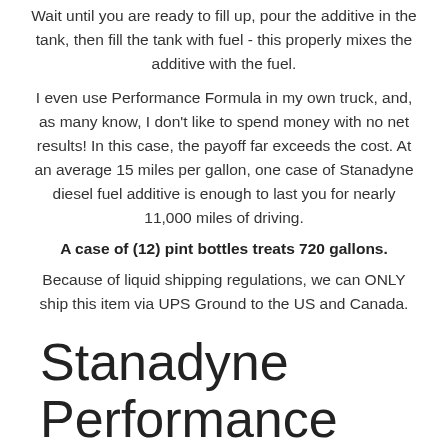Wait until you are ready to fill up, pour the additive in the tank, then fill the tank with fuel - this properly mixes the additive with the fuel.
I even use Performance Formula in my own truck, and, as many know, I don't like to spend money with no net results! In this case, the payoff far exceeds the cost. At an average 15 miles per gallon, one case of Stanadyne diesel fuel additive is enough to last you for nearly 11,000 miles of driving.
A case of (12) pint bottles treats 720 gallons.
Because of liquid shipping regulations, we can ONLY ship this item via UPS Ground to the US and Canada.
Stanadyne Performance Formula